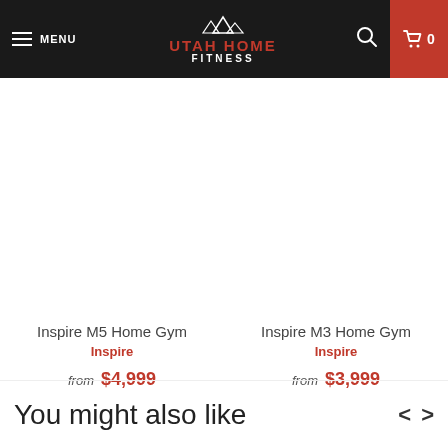MENU | UTAH HOME FITNESS | 0
Inspire M5 Home Gym
Inspire
from $4,999
Inspire M3 Home Gym
Inspire
from $3,999
You might also like